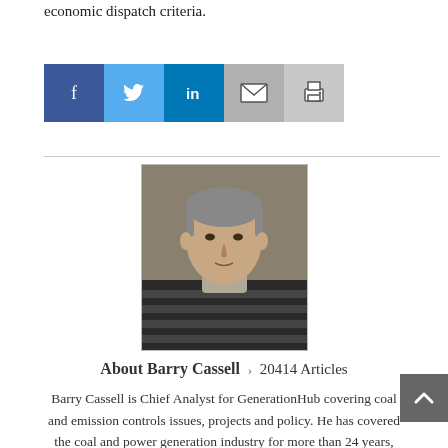economic dispatch criteria.
[Figure (other): Social sharing buttons: Facebook, Twitter, LinkedIn, Email, Print]
[Figure (photo): Headshot photo of Barry Cassell, a middle-aged man with gray hair wearing a striped sweater]
About Barry Cassell > 20414 Articles
Barry Cassell is Chief Analyst for GenerationHub covering coal and emission controls issues, projects and policy. He has covered the coal and power generation industry for more than 24 years, beginning in November 2011 at GenerationHub and prior to that as editor of SNL Energy's Coal Report. He was formerly with Coal Outlook